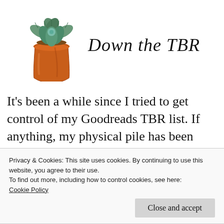[Figure (illustration): Watercolor illustration of a succulent plant in an orange/terracotta pot, with 'Down the TBR' written in cursive script to the right]
It’s been a while since I tried to get control of my Goodreads TBR list. If anything, my physical pile has been getting more out of
Privacy & Cookies: This site uses cookies. By continuing to use this website, you agree to their use.
To find out more, including how to control cookies, see here:
Cookie Policy
Close and accept